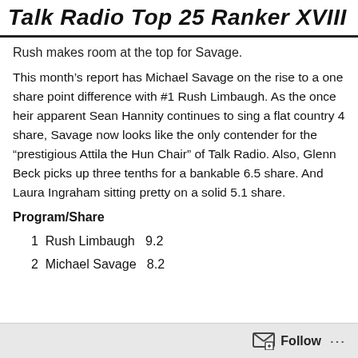Talk Radio Top 25 Ranker XVIII
Rush makes room at the top for Savage.
This month's report has Michael Savage on the rise to a one share point difference with #1 Rush Limbaugh. As the once heir apparent Sean Hannity continues to sing a flat country 4 share, Savage now looks like the only contender for the “prestigious Attila the Hun Chair” of Talk Radio. Also, Glenn Beck picks up three tenths for a bankable 6.5 share. And Laura Ingraham sitting pretty on a solid 5.1 share.
Program/Share
1  Rush Limbaugh   9.2
2  Michael Savage   8.2
Follow